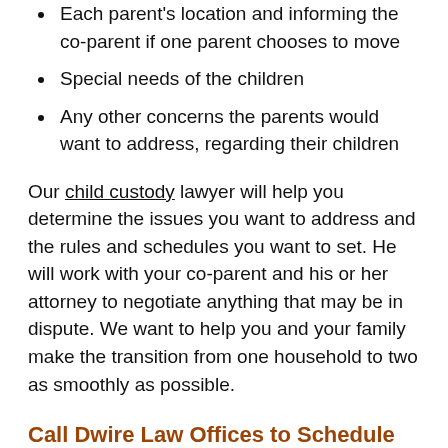Each parent's location and informing the co-parent if one parent chooses to move
Special needs of the children
Any other concerns the parents would want to address, regarding their children
Our child custody lawyer will help you determine the issues you want to address and the rules and schedules you want to set. He will work with your co-parent and his or her attorney to negotiate anything that may be in dispute. We want to help you and your family make the transition from one household to two as smoothly as possible.
Call Dwire Law Offices to Schedule Your Free Consultation
To discuss creating a parenting plan with attorney Todd